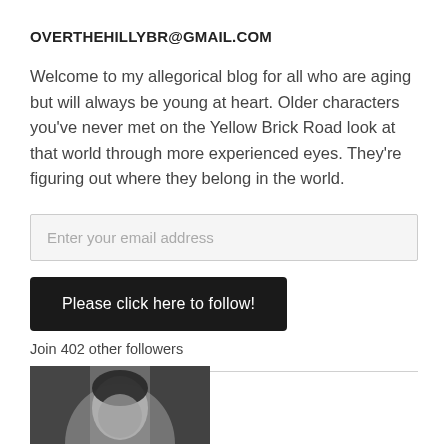OVERTHEHILLYBR@GMAIL.COM
Welcome to my allegorical blog for all who are aging but will always be young at heart. Older characters you've never met on the Yellow Brick Road look at that world through more experienced eyes. They're figuring out where they belong in the world.
Enter your email address
Please click here to follow!
Join 402 other followers
[Figure (photo): Black and white photograph of a person, partially visible at bottom of page]